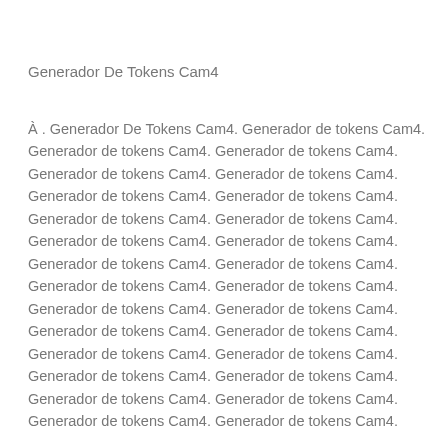Generador De Tokens Cam4
À . Generador De Tokens Cam4. Generador de tokens Cam4. Generador de tokens Cam4. Generador de tokens Cam4. Generador de tokens Cam4. Generador de tokens Cam4. Generador de tokens Cam4. Generador de tokens Cam4. Generador de tokens Cam4. Generador de tokens Cam4. Generador de tokens Cam4. Generador de tokens Cam4. Generador de tokens Cam4. Generador de tokens Cam4. Generador de tokens Cam4. Generador de tokens Cam4. Generador de tokens Cam4. Generador de tokens Cam4. Generador de tokens Cam4. Generador de tokens Cam4. Generador de tokens Cam4. Generador de tokens Cam4. Generador de tokens Cam4. Generador de tokens Cam4. Generador de tokens Cam4. Generador de tokens Cam4. Generador de tokens Cam4. Generador de tokens Cam4.